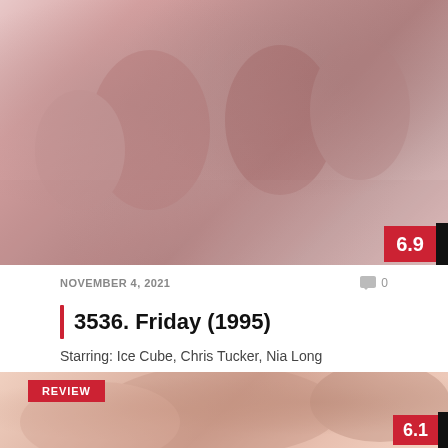[Figure (photo): Faded/washed out photo of people, top section of a movie review page, rating badge 6.9 in bottom right corner]
NOVEMBER 4, 2021
0
3536. Friday (1995)
Starring: Ice Cube, Chris Tucker, Nia Long
[Figure (photo): Faded/washed out close-up photo of a person, bottom section of page with REVIEW badge and rating badge 6.1]